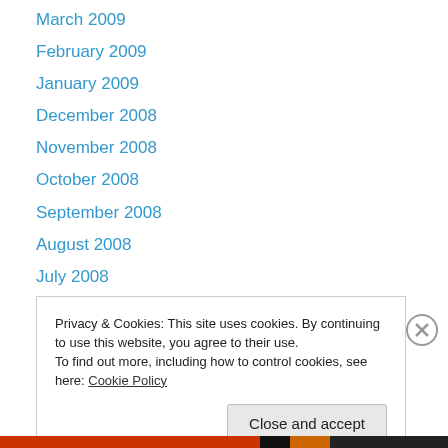March 2009
February 2009
January 2009
December 2008
November 2008
October 2008
September 2008
August 2008
July 2008
June 2008
May 2008
Privacy & Cookies: This site uses cookies. By continuing to use this website, you agree to their use.
To find out more, including how to control cookies, see here: Cookie Policy
Close and accept